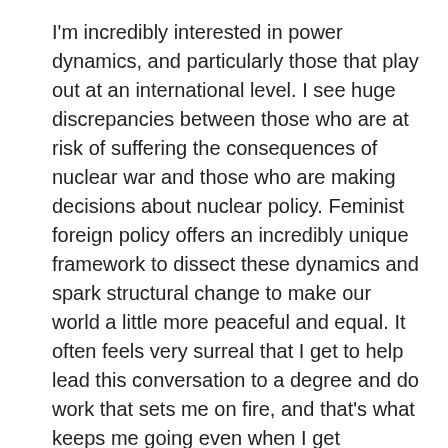I'm incredibly interested in power dynamics, and particularly those that play out at an international level. I see huge discrepancies between those who are at risk of suffering the consequences of nuclear war and those who are making decisions about nuclear policy. Feminist foreign policy offers an incredibly unique framework to dissect these dynamics and spark structural change to make our world a little more peaceful and equal. It often feels very surreal that I get to help lead this conversation to a degree and do work that sets me on fire, and that's what keeps me going even when I get stretched a little thin.
How can someone support your work?